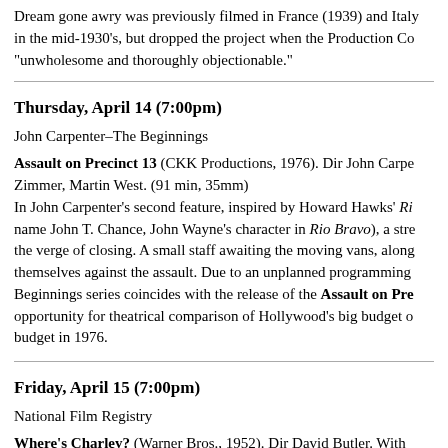Dream gone awry was previously filmed in France (1939) and Italy in the mid-1930's, but dropped the project when the Production Co "unwholesome and thoroughly objectionable."
Thursday, April 14 (7:00pm)
John Carpenter–The Beginnings
Assault on Precinct 13 (CKK Productions, 1976). Dir John Carpe Zimmer, Martin West. (91 min, 35mm) In John Carpenter's second feature, inspired by Howard Hawks' Ri name John T. Chance, John Wayne's character in Rio Bravo), a stre the verge of closing. A small staff awaiting the moving vans, along themselves against the assault. Due to an unplanned programming Beginnings series coincides with the release of the Assault on Pre opportunity for theatrical comparison of Hollywood's big budget o budget in 1976.
Friday, April 15 (7:00pm)
National Film Registry
Where's Charley? (Warner Bros., 1952). Dir David Butler. With